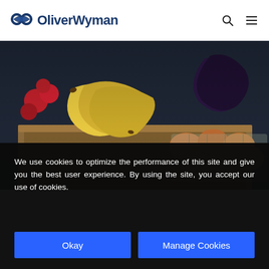OliverWyman
[Figure (photo): A cardboard box filled with groceries including bananas, red fruits (cherries/tomatoes), eggs in carton, and dark vegetables, shot from above at an angle in dim lighting.]
We use cookies to optimize the performance of this site and give you the best user experience. By using the site, you accept our use of cookies.
Okay
Manage Cookies